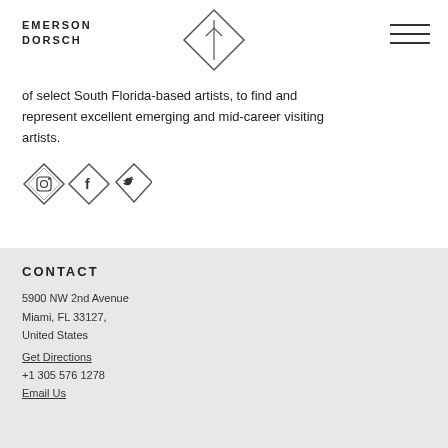EMERSON DORSCH
[Figure (logo): Diamond-shaped logo with arrow and vertical line inside, Emerson Dorsch gallery logo]
[Figure (other): Hamburger menu icon — three horizontal lines]
of select South Florida-based artists, to find and represent excellent emerging and mid-career visiting artists.
[Figure (other): Three diamond-shaped social media icons: Instagram, Facebook, Twitter]
CONTACT
5900 NW 2nd Avenue
Miami, FL 33127,
United States
Get Directions
+1 305 576 1278
Email Us